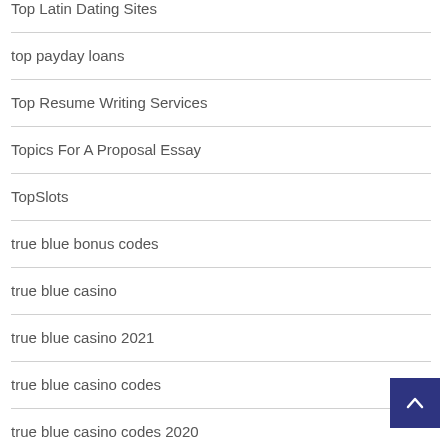Top Latin Dating Sites
top payday loans
Top Resume Writing Services
Topics For A Proposal Essay
TopSlots
true blue bonus codes
true blue casino
true blue casino 2021
true blue casino codes
true blue casino codes 2020